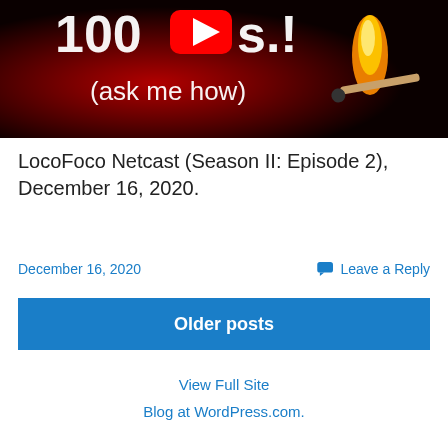[Figure (screenshot): YouTube video thumbnail showing text '100s.! (ask me how)' with a burning match on a dark red background and a YouTube play button overlay.]
LocoFoco Netcast (Season II: Episode 2), December 16, 2020.
December 16, 2020
Leave a Reply
Older posts
View Full Site
Blog at WordPress.com.